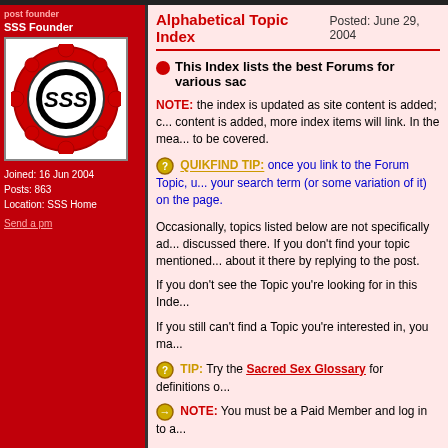SSS Founder
[Figure (logo): SSS logo: red ornate circular border with black and white inner circle containing stylized SSS letters]
Joined: 16 Jun 2004
Posts: 863
Location: SSS Home
Send a pm
Alphabetical Topic Index   Posted: June 29, 2004
This Index lists the best Forums for various sad...
NOTE: the index is updated as site content is added; content is added, more index items will link. In the mea... to be covered.
QUIKFIND TIP: once you link to the Forum Topic, u... your search term (or some variation of it) on the page.
Occasionally, topics listed below are not specifically ad... discussed there. If you don't find your topic mentioned... about it there by replying to the post.
If you don't see the Topic you're looking for in this Inde...
If you still can't find a Topic you're interested in, you ma...
TIP: Try the Sacred Sex Glossary for definitions o...
NOTE: You must be a Paid Member and log in to a...